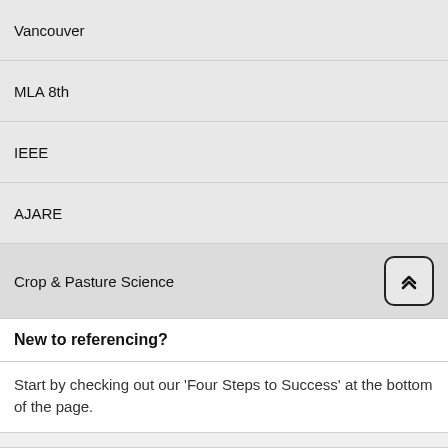Vancouver
MLA 8th
IEEE
AJARE
Crop & Pasture Science
New to referencing?
Start by checking out our 'Four Steps to Success' at the bottom of the page.
References in the body of your essay
The APA in text reference is in the format ( directly quoting from a text you must incluc